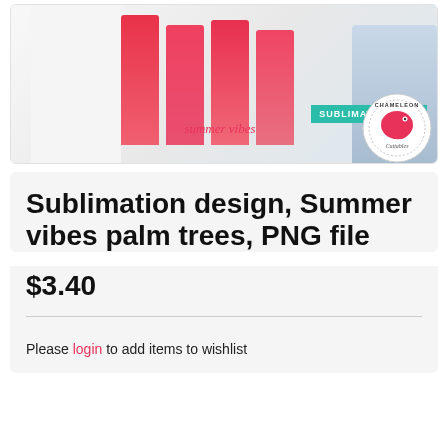[Figure (photo): Product image showing a sublimation design with summer vibes palm trees on a t-shirt, with jeans fabric in background and a Chameleon Cuttables sublimation file logo badge]
Sublimation design, Summer vibes palm trees, PNG file
$3.40
Please login to add items to wishlist